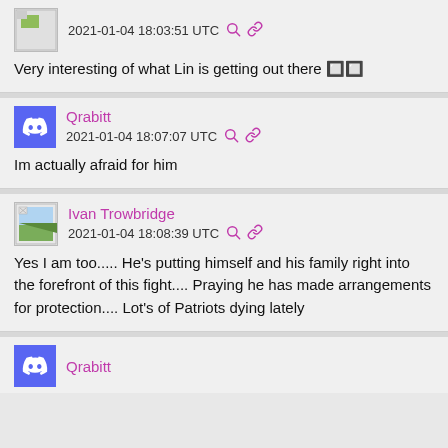2021-01-04 18:03:51 UTC
Very interesting of what Lin is getting out there 🔲🔲
Qrabitt
2021-01-04 18:07:07 UTC
Im actually afraid for him
Ivan Trowbridge
2021-01-04 18:08:39 UTC
Yes I am too..... He's putting himself and his family right into the forefront of this fight.... Praying he has made arrangements for protection.... Lot's of Patriots dying lately
Qrabitt